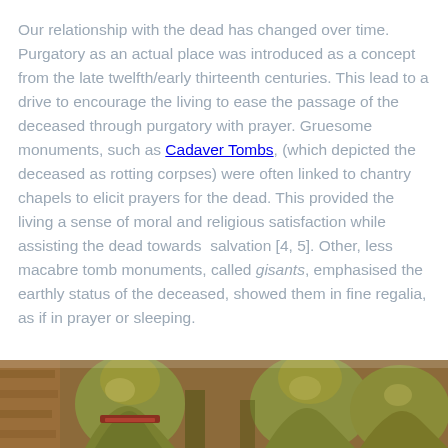Our relationship with the dead has changed over time. Purgatory as an actual place was introduced as a concept from the late twelfth/early thirteenth centuries. This lead to a drive to encourage the living to ease the passage of the deceased through purgatory with prayer. Gruesome monuments, such as Cadaver Tombs, (which depicted the deceased as rotting corpses) were often linked to chantry chapels to elicit prayers for the dead. This provided the living a sense of moral and religious satisfaction while assisting the dead towards  salvation [4, 5]. Other, less macabre tomb monuments, called gisants, emphasised the earthly status of the deceased, showed them in fine regalia, as if in prayer or sleeping.
[Figure (photo): Photograph of golden/green medieval tomb effigies (gisants), showing decorated figures in fine regalia, partially cropped at the bottom of the page.]